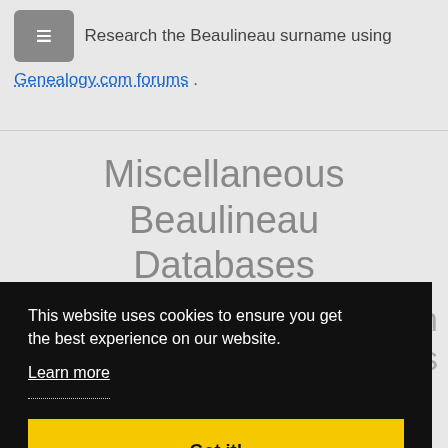Research the Beaulineau surname using Genealogy.com forums .
Miscellaneous Beaulineau Databases
This website uses cookies to ensure you get the best experience on our website. Learn more Got it!